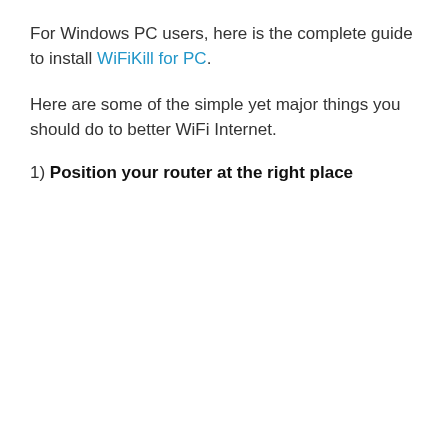For Windows PC users, here is the complete guide to install WiFiKill for PC.
Here are some of the simple yet major things you should do to better WiFi Internet.
1) Position your router at the right place